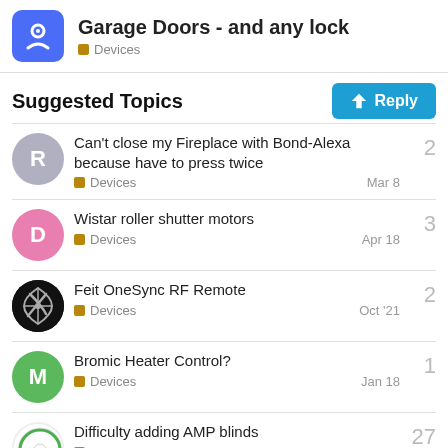Garage Doors - and any lock | Devices
Suggested Topics
Can't close my Fireplace with Bond-Alexa because have to press twice | Devices | Mar 8 | 2
Wistar roller shutter motors | Devices | Apr 18 | 3
Feit OneSync RF Remote | Devices | Oct '21 | 2
Bromic Heater Control? | Devices | Jan 18 | 1
Difficulty adding AMP blinds | Devices | 20d | 27